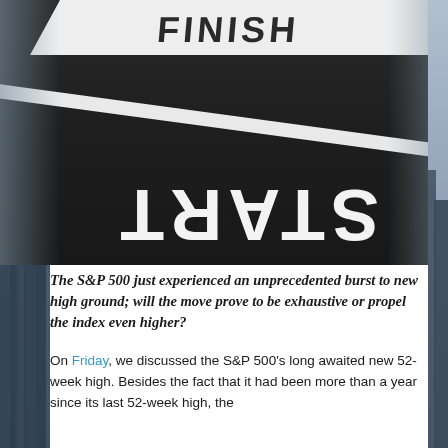[Figure (photo): Aerial or ground-level photograph of road markings on dark asphalt showing 'FINISH' and 'START' text written in white paint, with 'START' appearing mirrored/upside-down. City buildings visible in blurred background at edges.]
The S&P 500 just experienced an unprecedented burst to new high ground; will the move prove to be exhaustive or propel the index even higher?
On Friday, we discussed the S&P 500's long awaited new 52-week high. Besides the fact that it had been more than a year since its last 52-week high, the